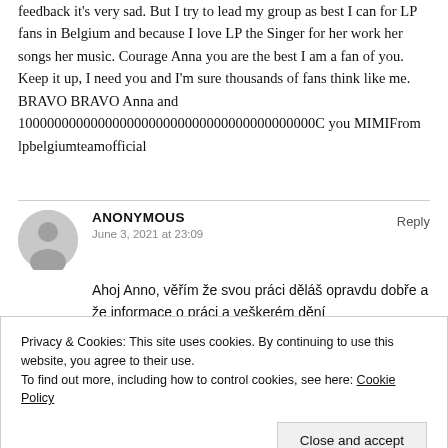feedback it's very sad. But I try to lead my group as best I can for LP fans in Belgium and because I love LP the Singer for her work her songs her music. Courage Anna you are the best I am a fan of you. Keep it up, I need you and I'm sure thousands of fans think like me. BRAVO BRAVO Anna and 100000000000000000000000000000000000000000C you MIMIFrom lpbelgiumteamofficial
ANONYMOUS
June 3, 2021 at 23:09
Ahoj Anno, věřím že svou práci děláš opravdu dobře a že informace o práci a veškerém dění
Privacy & Cookies: This site uses cookies. By continuing to use this website, you agree to their use.
To find out more, including how to control cookies, see here: Cookie Policy
české titulky pro nás co anglicky moc neumí.